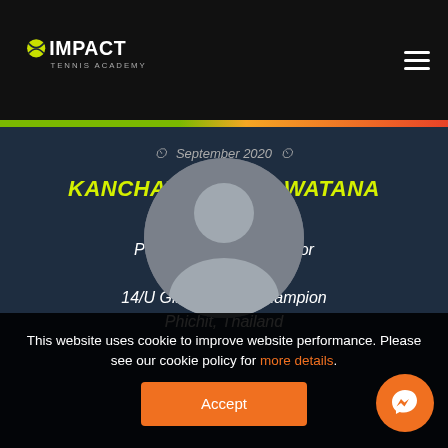IMPACT TENNIS ACADEMY
September 2020
KANCHAYA CHUNGWATANA (JEMMA)
PTT-LTAT Northern junior championship
14/U Girls Singles Champion
Phichit, Thailand
[Figure (photo): Circular cropped photo of a tennis player at a tournament]
This website uses cookie to improve website performance. Please see our cookie policy for more details.
Accept